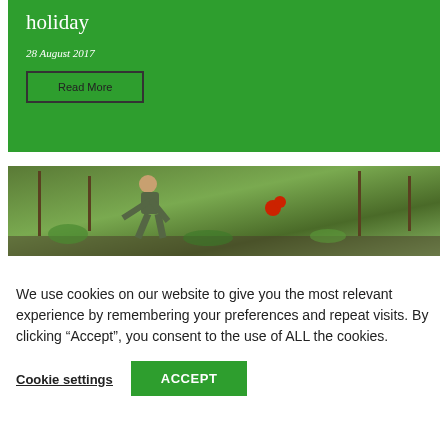holiday
28 August 2017
Read More
[Figure (photo): Person bending over working in a garden with green plants, trees, and red flowers visible in the background]
We use cookies on our website to give you the most relevant experience by remembering your preferences and repeat visits. By clicking “Accept”, you consent to the use of ALL the cookies.
Cookie settings
ACCEPT